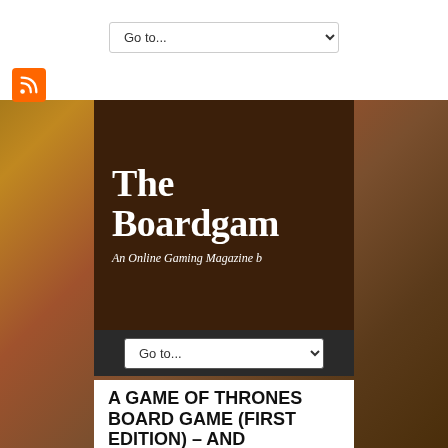[Figure (screenshot): Navigation dropdown at top of white bar reading 'Go to...' with chevron]
[Figure (logo): Orange RSS feed icon]
[Figure (illustration): The Boardgame [magazine] banner on dark brown background - 'The Boardga...' large serif bold white text and 'An Online Gaming Magazine b...' italic white subtitle, partially cropped]
[Figure (screenshot): Navigation dropdown on dark bar reading 'Go to...' with chevron]
A GAME OF THRONES BOARD GAME (FIRST EDITION) – AND